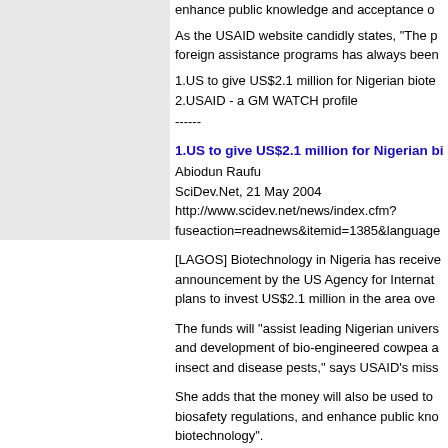[Figure (photo): Gray placeholder image on the left side of the page]
enhance public knowledge and acceptance o
As the USAID website candidly states, "The p foreign assistance programs has always been
1.US to give US$2.1 million for Nigerian biote
2.USAID - a GM WATCH profile
------
1.US to give US$2.1 million for Nigerian bi
Abiodun Raufu
SciDev.Net, 21 May 2004
http://www.scidev.net/news/index.cfm?fuseaction=readnews&itemid=1385&language
[LAGOS] Biotechnology in Nigeria has receive announcement by the US Agency for Internat plans to invest US$2.1 million in the area ove
The funds will "assist leading Nigerian univers and development of bio-engineered cowpea a insect and disease pests," says USAID's miss
She adds that the money will also be used to biosafety regulations, and enhance public kno biotechnology".
The announcement has been welcomed by N Obasanjo, who says that "Nigeria should, as i